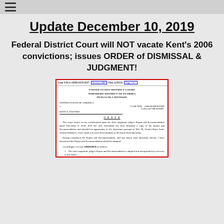☰
Update December 10, 2019
Federal District Court will NOT vacate Kent's 2006 convictions; issues ORDER of DISMISSAL & JUDGMENT!
[Figure (screenshot): Screenshot of a US District Court order document for United States of America v. Kent E. Hovind, Case Nos. 3:06cr83/MCR/EMT and 3:18cv027/MCR/EMT, Northern District of Florida, Pensacola Division. Document number 485, filed 12/09/19. Shows an ORDER stating the case comes on for consideration upon the chief magistrate judge's Report and Recommendation dated November 6, 2019. Defendant furnished a copy and afforded opportunity to file objections. The Report and Recommendation should be adopted. Orders as follows: 1. The chief magistrate judge's Report and Recommendation is adopted and incorporated by reference to this Order.]